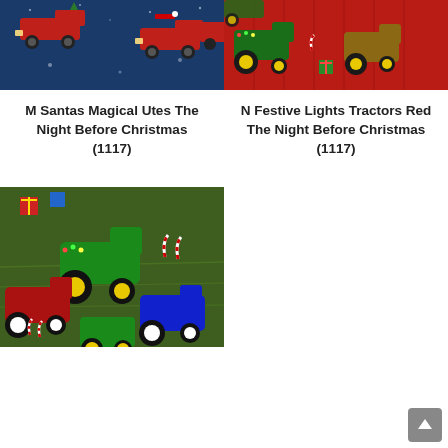[Figure (photo): Fabric pattern with red trucks/utes on a dark blue night background with Christmas trees]
[Figure (photo): Fabric pattern with green Christmas tractors on a red background with candy canes and gifts]
M Santas Magical Utes The Night Before Christmas (1117)
N Festive Lights Tractors Red The Night Before Christmas (1117)
[Figure (photo): Fabric pattern with green Christmas tractors on a green grass background with candy canes and gifts]